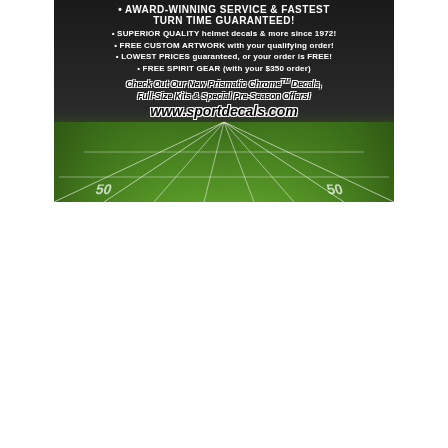[Figure (illustration): Advertisement for sportdecals.com showing dark background with football field at bottom, listing bullet points about superior quality helmet decals, free custom artwork, lowest prices, free spirit gear, and promoting Prismatic Chrome decals with website URL www.sportdecals.com]